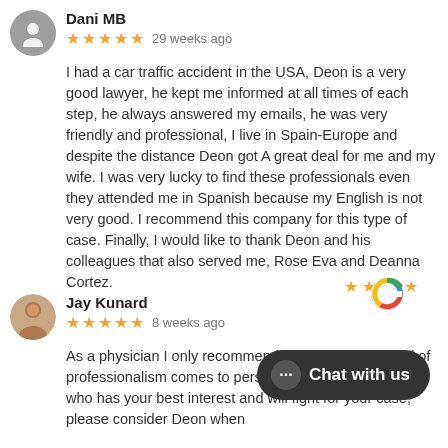Dani MB
★★★★★  29 weeks ago
I had a car traffic accident in the USA, Deon is a very good lawyer, he kept me informed at all times of each step, he always answered my emails, he was very friendly and professional, I live in Spain-Europe and despite the distance Deon got A great deal for me and my wife. I was very lucky to find these professionals even they attended me in Spanish because my English is not very good. I recommend this company for this type of case. Finally, I would like to thank Deon and his colleagues that also served me, Rose Eva and Deanna Cortez.
[Figure (logo): Google logo with star ratings]
Jay Kunard
★★★★★  8 weeks ago
As a physician I only recommend the highest standard of professionalism comes to personal injury. If for someone who has your best interest and will fight for your case, please consider Deon when
[Figure (infographic): Chat with us button overlay]